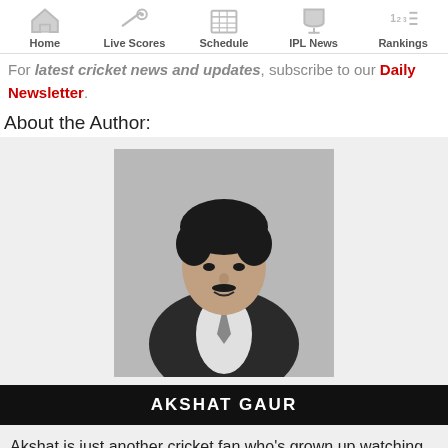Home | Live Scores | Schedule | IPL News | Rankings
For latest cricket news and updates, subscribe to our Daily Newsletter.
About the Author:
[Figure (photo): Black and white portrait photo of Akshat Gaur]
AKSHAT GAUR
Akshat is just another cricket fan who’s grown up watching the likes of Sachin Tendulkar and Rahul Dravid. Cricket runs in his veins. Cover drive is his favorite sight, and a ball meeting the middle of the bat is his favorite sound. You can write to him at